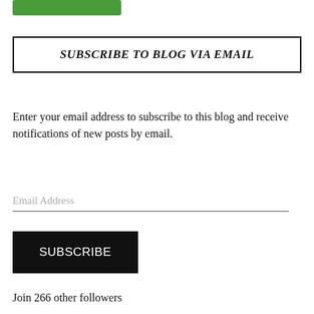[Figure (other): Green button partially visible at top of page]
SUBSCRIBE TO BLOG VIA EMAIL
Enter your email address to subscribe to this blog and receive notifications of new posts by email.
Email Address
SUBSCRIBE
Join 266 other followers